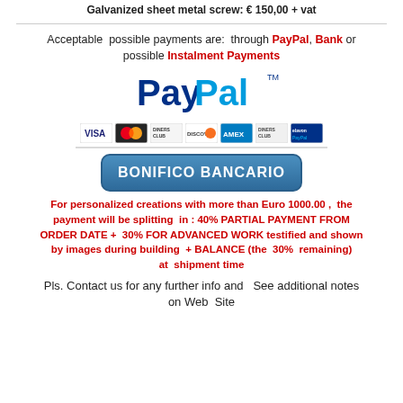Galvanized sheet metal screw: € 150,00 + vat
Acceptable possible payments are: through PayPal, Bank or possible Instalment Payments
[Figure (logo): PayPal logo with credit card icons (VISA, MasterCard, Diners, Discover, AmEx, Diners, elavon PayPal) and a blue bank transfer button labeled BONIFICO BANCARIO]
For personalized creations with more than Euro 1000.00 , the payment will be splitting in : 40% PARTIAL PAYMENT FROM ORDER DATE + 30% FOR ADVANCED WORK testified and shown by images during building + BALANCE (the 30% remaining) at shipment time
Pls. Contact us for any further info and See additional notes on Web Site